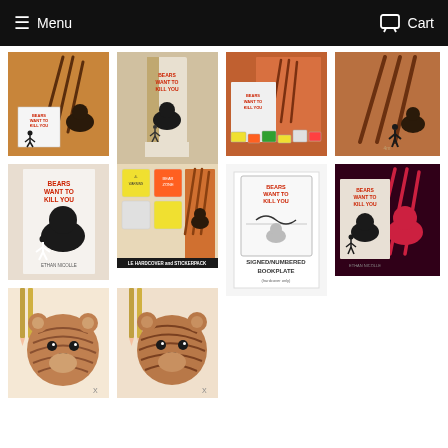Menu  Cart
[Figure (photo): Book 'Bears Want to Kill You' with orange illustrated slipcase showing bear claws and running figure, hardcover edition]
[Figure (photo): Book 'Bears Want to Kill You' spine view showing title in red letters]
[Figure (photo): Book 'Bears Want to Kill You' displayed with orange slipcase and stickers spread out]
[Figure (photo): Book 'Bears Want to Kill You' orange slipcase close-up with bear claw marks]
[Figure (photo): Book 'Bears Want to Kill You' paperback cover showing bear and running figure silhouette]
[Figure (photo): LE Hardcover and Sticker Pack bundle showing warning stickers and bear claw slipcase]
[Figure (photo): Signed/Numbered Bookplate for hardcover only, with signature and bear bookplate design]
[Figure (photo): Book 'Bears Want to Kill You' dark edition with red bear silhouette on black background]
[Figure (photo): Bear face artwork/illustration with detailed fur markings, pencil or pen drawing]
[Figure (photo): Bear face artwork/illustration similar to previous, slightly different angle or version]